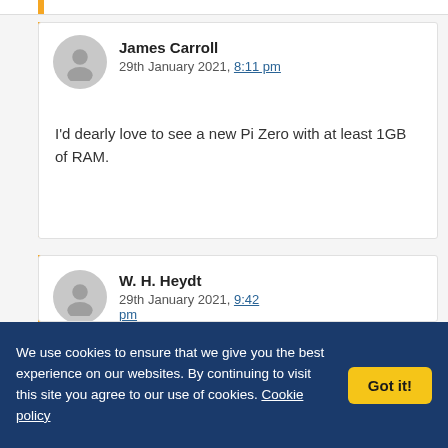James Carroll
29th January 2021, 8:11 pm

I'd dearly love to see a new Pi Zero with at least 1GB of RAM.
W. H. Heydt
29th January 2021, 9:42 pm
We use cookies to ensure that we give you the best experience on our websites. By continuing to visit this site you agree to our use of cookies. Cookie policy